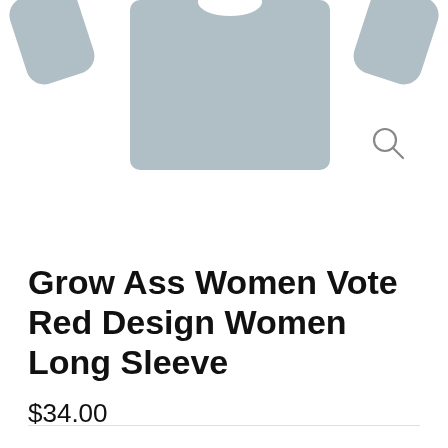[Figure (photo): Gray long sleeve women's shirt product image, partially cropped at top, with a magnifying glass icon in the lower right of the image area]
Grow Ass Women Vote Red Design Women Long Sleeve
$34.00